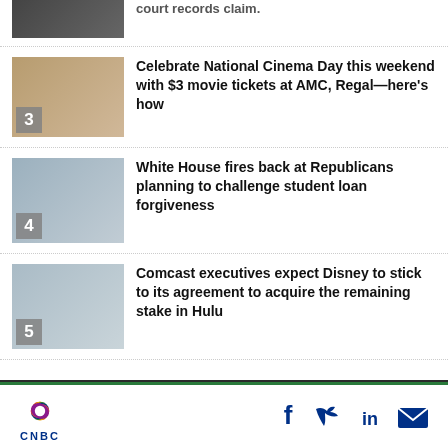[Figure (photo): Partial thumbnail of news story, cut off at top]
court records claim.
[Figure (photo): Thumbnail image for National Cinema Day story, numbered 3]
Celebrate National Cinema Day this weekend with $3 movie tickets at AMC, Regal—here's how
[Figure (photo): Thumbnail image of White House for student loan forgiveness story, numbered 4]
White House fires back at Republicans planning to challenge student loan forgiveness
[Figure (photo): Thumbnail image for Comcast/Hulu story, numbered 5]
Comcast executives expect Disney to stick to its agreement to acquire the remaining stake in Hulu
CNBC logo with social media icons: Facebook, Twitter, LinkedIn, Email